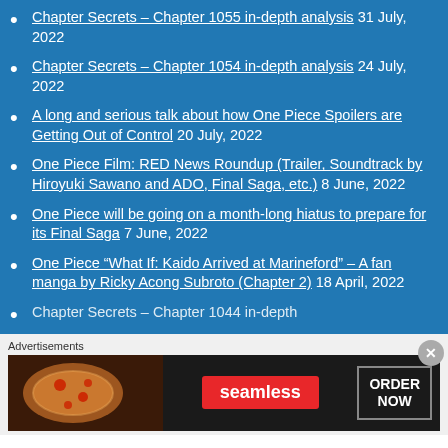Chapter Secrets – Chapter 1055 in-depth analysis 31 July, 2022
Chapter Secrets – Chapter 1054 in-depth analysis 24 July, 2022
A long and serious talk about how One Piece Spoilers are Getting Out of Control 20 July, 2022
One Piece Film: RED News Roundup (Trailer, Soundtrack by Hiroyuki Sawano and ADO, Final Saga, etc.) 8 June, 2022
One Piece will be going on a month-long hiatus to prepare for its Final Saga 7 June, 2022
One Piece “What If: Kaido Arrived at Marineford” – A fan manga by Ricky Acong Subroto (Chapter 2) 18 April, 2022
Chapter Secrets – Chapter 1044 in-depth
Advertisements
[Figure (infographic): Seamless food delivery advertisement showing pizza image on left, Seamless logo in red center, and ORDER NOW button on right]